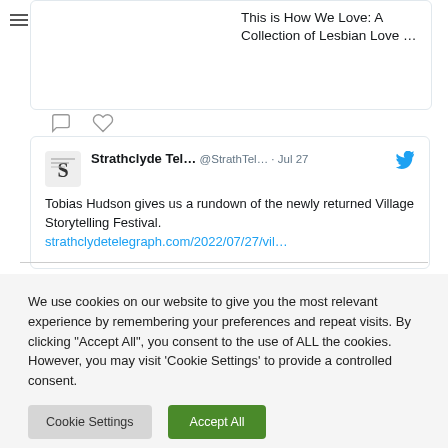[Figure (screenshot): Partial tweet card showing text 'This is How We Love: A Collection of Lesbian Love ...' with comment and heart icons below]
[Figure (screenshot): Tweet from Strathclyde Tel... @StrathTel... Jul 27 with Twitter bird icon. Text: 'Tobias Hudson gives us a rundown of the newly returned Village Storytelling Festival.' with link strathclydetelegraph.com/2022/07/27/vil...]
We use cookies on our website to give you the most relevant experience by remembering your preferences and repeat visits. By clicking "Accept All", you consent to the use of ALL the cookies. However, you may visit 'Cookie Settings' to provide a controlled consent.
Cookie Settings
Accept All